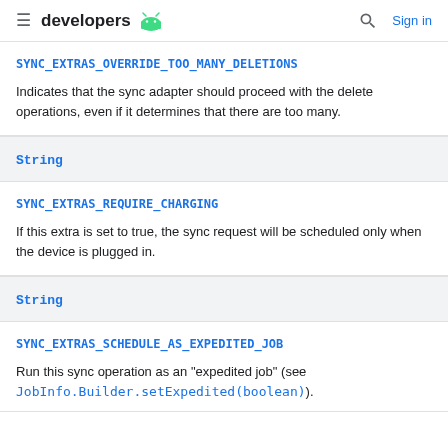developers [android icon] | Sign in
SYNC_EXTRAS_OVERRIDE_TOO_MANY_DELETIONS
Indicates that the sync adapter should proceed with the delete operations, even if it determines that there are too many.
String
SYNC_EXTRAS_REQUIRE_CHARGING
If this extra is set to true, the sync request will be scheduled only when the device is plugged in.
String
SYNC_EXTRAS_SCHEDULE_AS_EXPEDITED_JOB
Run this sync operation as an "expedited job" (see JobInfo.Builder.setExpedited(boolean)).